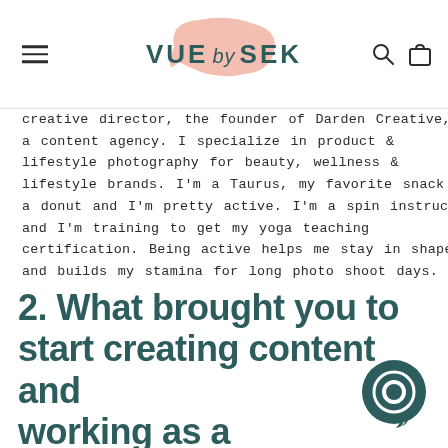VUE by SEK
creative director, the founder of Darden Creative, a content agency. I specialize in product & lifestyle photography for beauty, wellness & lifestyle brands. I'm a Taurus, my favorite snack is a donut and I'm pretty active. I'm a spin instructor and I'm training to get my yoga teaching certification. Being active helps me stay in shape and builds my stamina for long photo shoot days.
2. What brought you to start creating content and working as a photographer?
If you have a comment that you want to share...